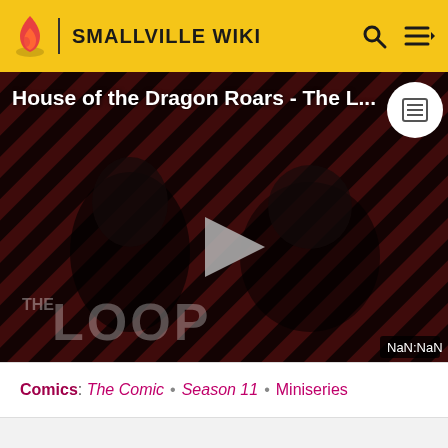SMALLVILLE WIKI
[Figure (screenshot): Video thumbnail with diagonal red and black stripes background, two people visible in dark lighting, 'THE LOOP' text overlay, play button in center, title 'House of the Dragon Roars - The L...' at top, NaN:NaN timer at bottom right]
Comics: The Comic • Season 11 • Miniseries